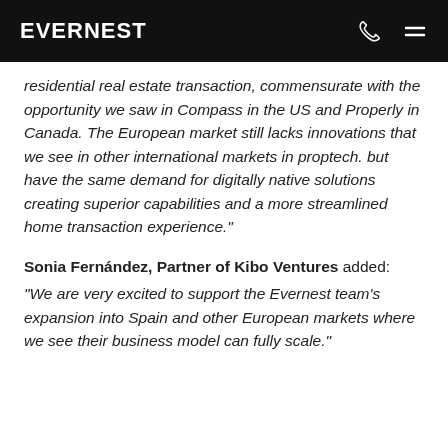EVERNEST
residential real estate transaction, commensurate with the opportunity we saw in Compass in the US and Properly in Canada. The European market still lacks innovations that we see in other international markets in proptech. but have the same demand for digitally native solutions creating superior capabilities and a more streamlined home transaction experience."
Sonia Fernández, Partner of Kibo Ventures added: "We are very excited to support the Evernest team's expansion into Spain and other European markets where we see their business model can fully scale."